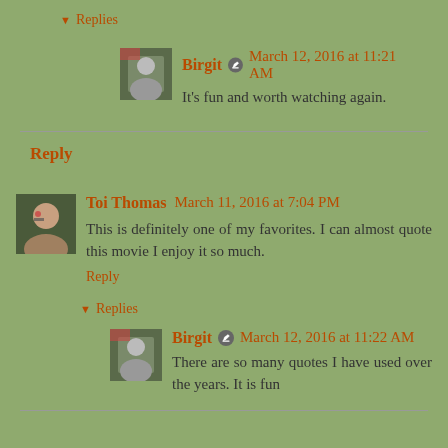▼ Replies
Birgit  March 12, 2016 at 11:21 AM
It's fun and worth watching again.
Reply
Toi Thomas  March 11, 2016 at 7:04 PM
This is definitely one of my favorites. I can almost quote this movie I enjoy it so much.
Reply
▼ Replies
Birgit  March 12, 2016 at 11:22 AM
There are so many quotes I have used over the years. It is fun